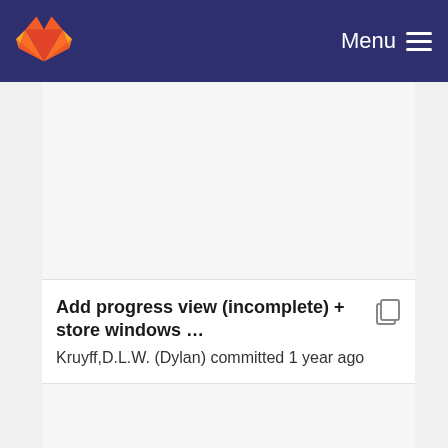GitLab — Menu
Add progress view (incomplete) + store windows …
Kruyff,D.L.W. (Dylan) committed 1 year ago
Replaced http server with angular app + naive labeling
Kruyff,D.L.W. (Dylan) committed 2 years ago
Don't show labeled windows in samples
Kruyff,D.L.W. (Dylan) committed 2 years ago
Use tabs and store labeled indices